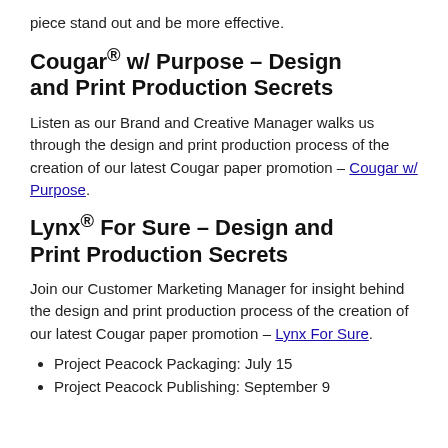piece stand out and be more effective.
Cougar® w/ Purpose – Design and Print Production Secrets
Listen as our Brand and Creative Manager walks us through the design and print production process of the creation of our latest Cougar paper promotion – Cougar w/ Purpose.
Lynx® For Sure – Design and Print Production Secrets
Join our Customer Marketing Manager for insight behind the design and print production process of the creation of our latest Cougar paper promotion – Lynx For Sure.
Project Peacock Packaging: July 15
Project Peacock Publishing: September 9